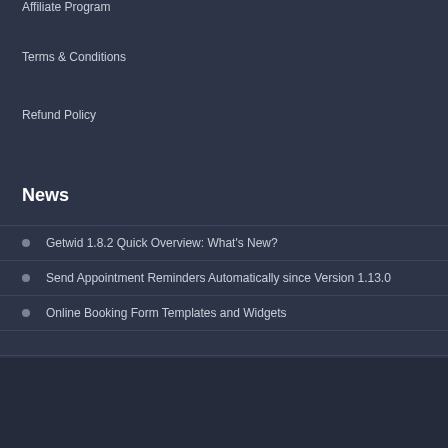Affiliate Program
Terms & Conditions
Refund Policy
News
Getwid 1.8.2 Quick Overview: What's New?
Send Appointment Reminders Automatically since Version 1.13.0
Online Booking Form Templates and Widgets
Our Network  Gutenix  |  BNBForms
Facebook  Twitter  YouTube  Instagram